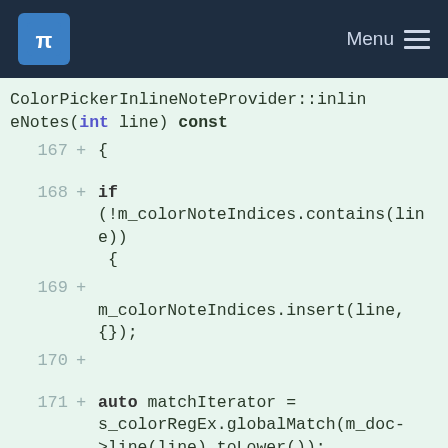KDE Menu
ColorPickerInlineNoteProvider::inlineNotes(int line) const
167 + {
168 +     if (!m_colorNoteIndices.contains(line)) {
169 +
        m_colorNoteIndices.insert(line, {});
170 +
171 +         auto matchIterator = s_colorRegEx.globalMatch(m_doc->line(line).toLower());
172 +         while (matchIterator.hasNext()) {
173 +             const auto match = matchIterator.next();
174 +             int colorOtherIndex = match.capturedStart();
175 +             int colorNoteIndex = colorOtherIndex +